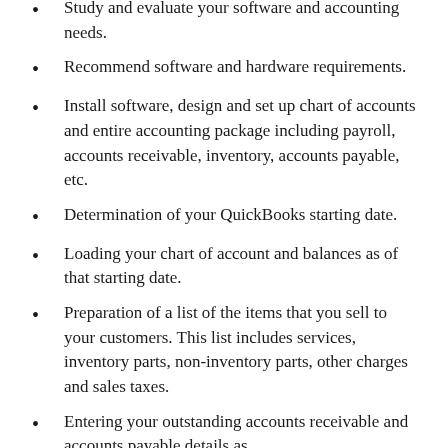Study and evaluate your software and accounting needs.
Recommend software and hardware requirements.
Install software, design and set up chart of accounts and entire accounting package including payroll, accounts receivable, inventory, accounts payable, etc.
Determination of your QuickBooks starting date.
Loading your chart of account and balances as of that starting date.
Preparation of a list of the items that you sell to your customers. This list includes services, inventory parts, non-inventory parts, other charges and sales taxes.
Entering your outstanding accounts receivable and accounts payable details as